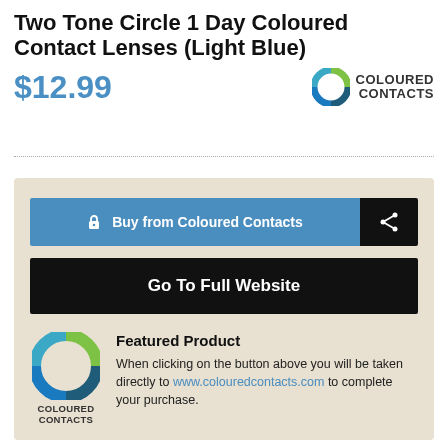Two Tone Circle 1 Day Coloured Contact Lenses (Light Blue)
$12.99
[Figure (logo): Coloured Contacts logo: circular lens graphic with blue and green tones, next to bold text reading COLOURED CONTACTS]
Buy from Coloured Contacts
Go To Full Website
[Figure (logo): Coloured Contacts large circular logo with lens graphic, label COLOURED CONTACTS below]
Featured Product
When clicking on the button above you will be taken directly to www.colouredcontacts.com to complete your purchase.